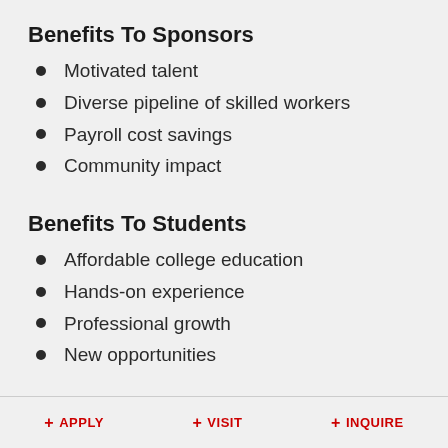Benefits To Sponsors
Motivated talent
Diverse pipeline of skilled workers
Payroll cost savings
Community impact
Benefits To Students
Affordable college education
Hands-on experience
Professional growth
New opportunities
+ APPLY  + VISIT  + INQUIRE